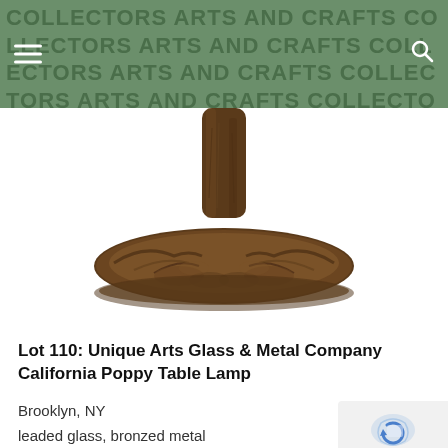COLLECTORS ARTS AND CRAFTS COLLECTORS ARTS AND CRAFTS
[Figure (photo): Bronze lamp base with tree trunk form rising from a naturalistic root and earth base, photographed against white background. Shows the lower portion of a table lamp with bronzed metal construction.]
Lot 110: Unique Arts Glass & Metal Company California Poppy Table Lamp
Brooklyn, NY
leaded glass, bronzed metal
unsigned